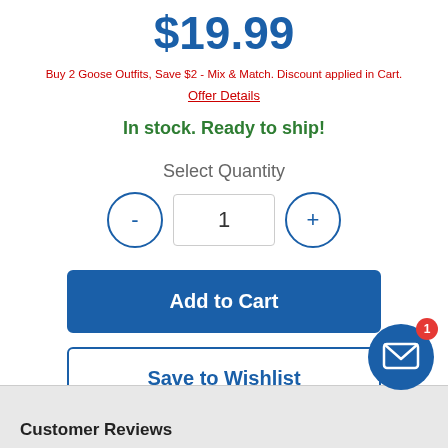$19.99
Buy 2 Goose Outfits, Save $2 - Mix & Match. Discount applied in Cart.
Offer Details
In stock. Ready to ship!
Select Quantity
[Figure (other): Quantity selector with minus button, quantity field showing 1, and plus button]
[Figure (other): Add to Cart button (blue filled)]
[Figure (other): Save to Wishlist button (blue outline)]
[Figure (other): Message notification bubble icon with badge showing 1]
Customer Reviews